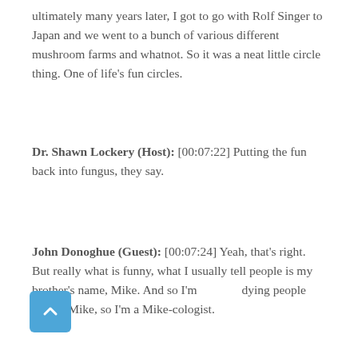ultimately many years later, I got to go with Rolf Singer to Japan and we went to a bunch of various different mushroom farms and whatnot. So it was a neat little circle thing. One of life's fun circles.
Dr. Shawn Lockery (Host): [00:07:22] Putting the fun back into fungus, they say.
John Donoghue (Guest): [00:07:24] Yeah, that's right. But really what is funny, what I usually tell people is my brother's name, Mike. And so I'm studying people named Mike, so I'm a Mike-cologist.